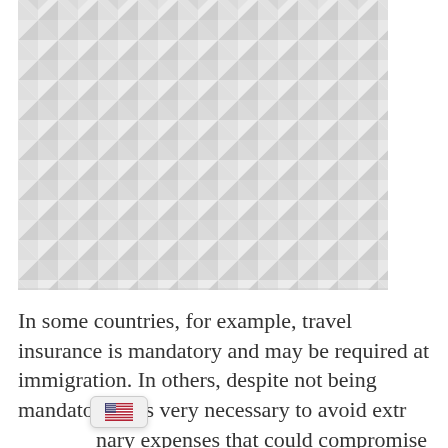[Figure (illustration): Geometric pattern background made of light grey and white triangles arranged in a repeating diamond/rhombus mosaic pattern]
In some countries, for example, travel insurance is mandatory and may be required at immigration. In others, despite not being mandatory, it is very necessary to avoid extraordinary expenses that could compromise